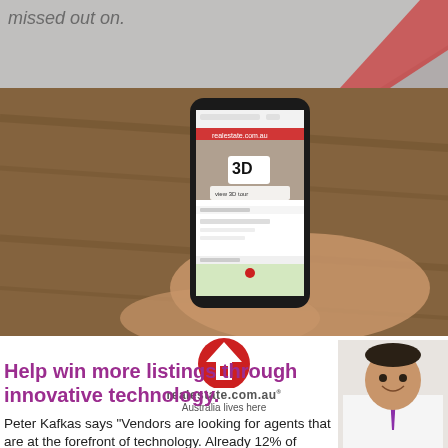[Figure (photo): Top strip showing partial text 'missed out on.' with a hand holding papers/book in background]
[Figure (photo): Hand holding a smartphone displaying a real estate app with 3D tour feature, resting on a wooden table]
[Figure (logo): realestate.com.au logo with house icon and tagline 'Australia lives here']
Help win more listings through innovative technology.
[Figure (photo): Headshot of Peter Kafkas, a smiling man in a white shirt and purple tie]
Peter Kafkas says "Vendors are looking for agents that are at the forefront of technology. Already 12% of residential home